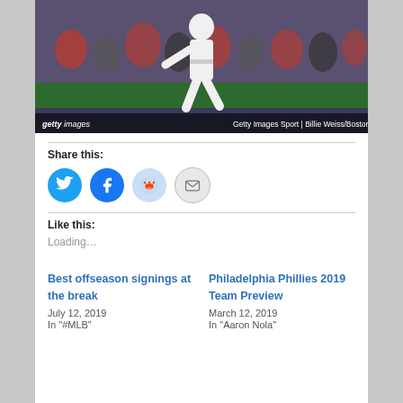[Figure (photo): Baseball player in white uniform pitching or batting, crowd in background, Getty Images Sport | Billie Weiss/Boston Red Sox watermark]
gettyimages  Getty Images Sport | Billie Weiss/Boston Red Sox
Share this:
[Figure (infographic): Social share buttons: Twitter (blue circle), Facebook (blue circle), Reddit (light blue circle), Email (gray circle)]
Like this:
Loading…
Best offseason signings at the break
July 12, 2019
In "#MLB"
Philadelphia Phillies 2019 Team Preview
March 12, 2019
In "Aaron Nola"